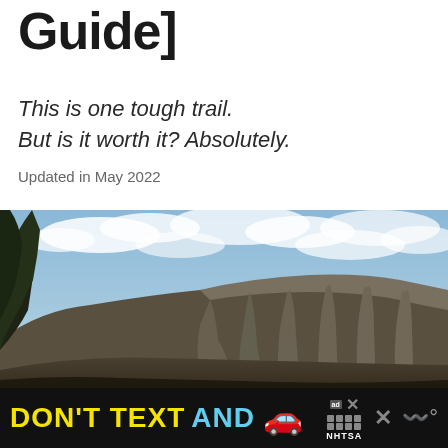Guide]
This is one tough trail.
But is it worth it? Absolutely.
Updated in May 2022
[Figure (photo): Outdoor mountain landscape photograph showing a large rocky cliff face with flat top, surrounded by trees in the foreground and a blue sky with clouds in the background.]
[Figure (infographic): Advertisement banner: DON'T TEXT AND [car emoji] with NHTSA ad badge and close button icons on black background]